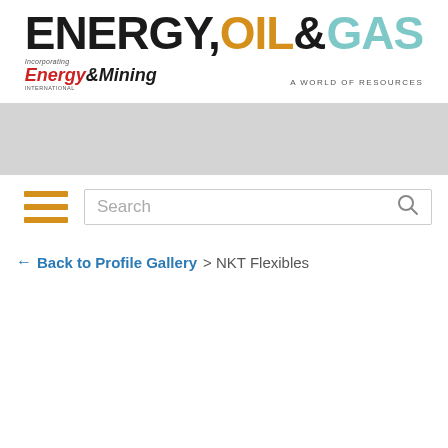[Figure (logo): Energy, Oil & Gas magazine logo incorporating Energy & Mining International, with tagline 'A World of Resources']
[Figure (other): Gray advertisement banner placeholder]
[Figure (other): Hamburger menu icon (three orange horizontal lines) and search box with search icon]
← Back to Profile Gallery > NKT Flexibles